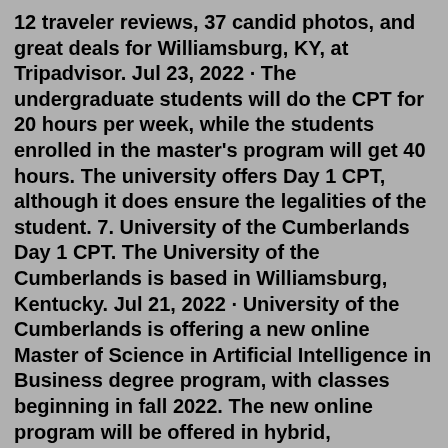12 traveler reviews, 37 candid photos, and great deals for Williamsburg, KY, at Tripadvisor. Jul 23, 2022 · The undergraduate students will do the CPT for 20 hours per week, while the students enrolled in the master's program will get 40 hours. The university offers Day 1 CPT, although it does ensure the legalities of the student. 7. University of the Cumberlands Day 1 CPT. The University of the Cumberlands is based in Williamsburg, Kentucky. Jul 21, 2022 · University of the Cumberlands is offering a new online Master of Science in Artificial Intelligence in Business degree program, with classes beginning in fall 2022. The new online program will be offered in hybrid, synchronous, and asynchronous formats and can be completed within one year (12 months). Mar 04, 2017 · Online Registration. Online registration: Tuesday, March 1 - Wednesday, March 30, 2022. All units must be completed as of January 31, 2022. All holds must be cleared before you can reserve your class. Tuesday, March 1 Beginning at 6 a.m. 90+ …